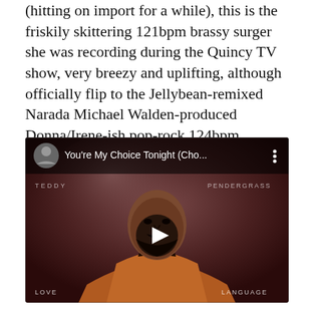(hitting on import for a while), this is the friskily skittering 121bpm brassy surger she was recording during the Quincy TV show, very breezy and uplifting, although officially flip to the Jellybean-remixed Narada Michael Walden-produced Donna/Irene-ish pop-rock 124bpm 'Rhythm Of The Street'.
[Figure (screenshot): YouTube video embed showing 'You're My Choice Tonight (Cho...' by Terry Pendergrass from album Love Language, with a play button overlay on album artwork showing a man in an orange jacket.]